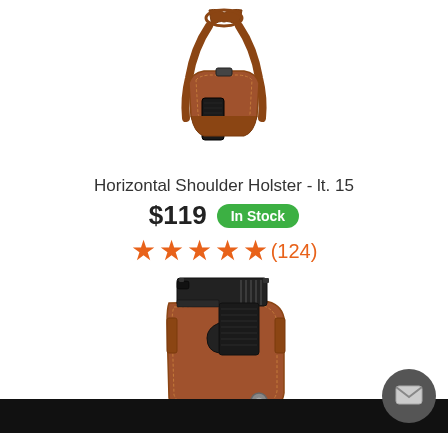[Figure (photo): Brown leather horizontal shoulder holster with black gun, shown with straps, viewed from front - top product image]
Horizontal Shoulder Holster - lt. 15
$119 In Stock
★★★★★ (124)
[Figure (photo): Black pistol in brown leather OWB holster with snap button, bottom product image, partially cut off by footer bar]